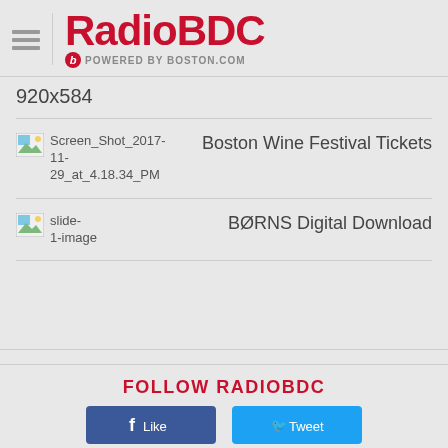[Figure (logo): RadioBDC logo - POWERED BY BOSTON.COM]
920x584
Screen_Shot_2017-11-29_at_4.18.34_PM
Boston Wine Festival Tickets
slide-1-image
BØRNS Digital Download
FOLLOW RADIOBDC